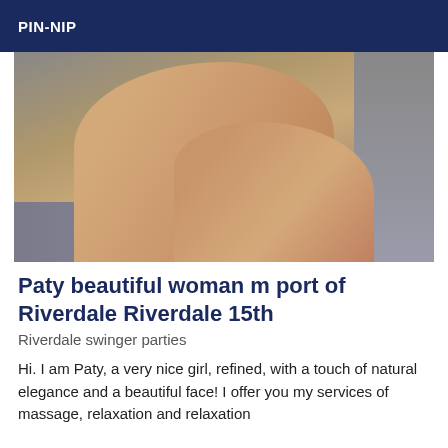PIN-NIP
[Figure (photo): Close-up photo of a woman's legs wearing snake-print high heel shoes, resting on a grey textured surface]
Paty beautiful woman m port of Riverdale Riverdale 15th
Riverdale swinger parties
Hi. I am Paty, a very nice girl, refined, with a touch of natural elegance and a beautiful face! I offer you my services of massage, relaxation and relaxation